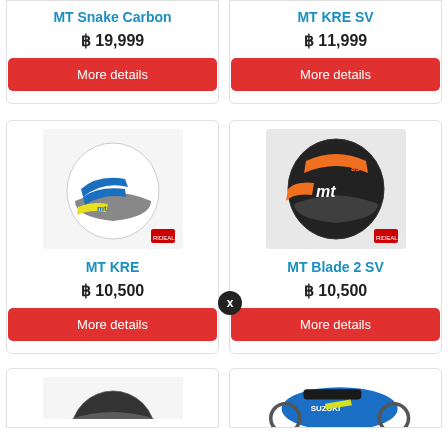MT Snake Carbon
฿ 19,999
More details
MT KRE SV
฿ 11,999
More details
[Figure (photo): MT KRE motorcycle helmet - white with blue and yellow design]
MT KRE
฿ 10,500
More details
[Figure (photo): MT Blade 2 SV motorcycle helmet - black with orange design]
MT Blade 2 SV
฿ 10,500
More details
[Figure (photo): Suzuki motorcycle - blue sport bike partially visible]
[Figure (photo): Motorcycle helmet partially visible at bottom left]